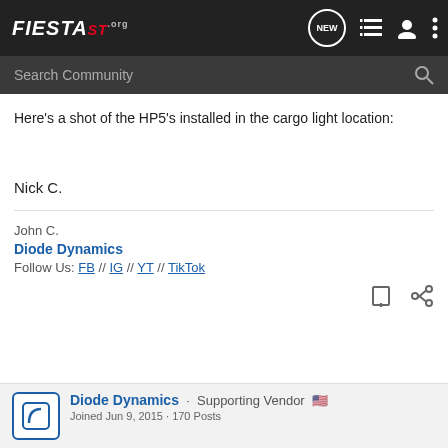FiestaST.org
Here's a shot of the HP5's installed in the cargo light location:
Nick C.
John C.
Diode Dynamics
Follow Us: FB // IG // YT // TikTok
Diode Dynamics · Supporting Vendor 🇺🇸
Joined Jun 9, 2015 · 170 Posts